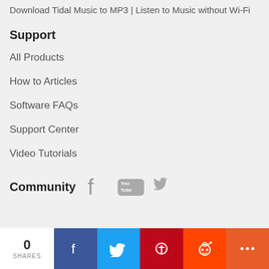Download Tidal Music to MP3 | Listen to Music without Wi-Fi
Support
All Products
How to Articles
Software FAQs
Support Center
Video Tutorials
Community
[Figure (other): Social media icons: Facebook, YouTube, Twitter]
0 SHARES — Facebook, Twitter, Pinterest, Reddit, More share buttons